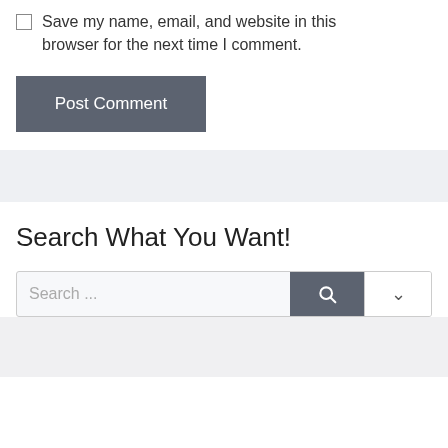Save my name, email, and website in this browser for the next time I comment.
Post Comment
Search What You Want!
Search